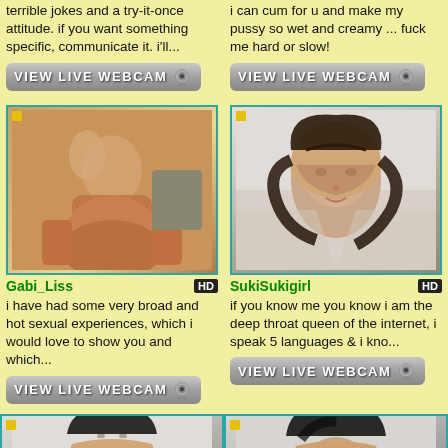terrible jokes and a try-it-once attitude. if you want something specific, communicate it. i'll...
i can cum for u and make my pussy so wet and creamy ... fuck me hard or slow!
[Figure (photo): Webcam button for first profile]
[Figure (photo): Webcam button for second profile]
[Figure (photo): Photo of Gabi_Liss]
[Figure (photo): Photo of SukiSukigirl]
Gabi_Liss
SukiSukigirl
i have had some very broad and hot sexual experiences, which i would love to show you and which...
if you know me you know i am the deep throat queen of the internet, i speak 5 languages & i kno...
[Figure (photo): Webcam button for Gabi_Liss]
[Figure (photo): Webcam button for SukiSukigirl]
[Figure (photo): Photo of third profile (partial, bottom)]
[Figure (photo): Photo of fourth profile (partial, bottom)]